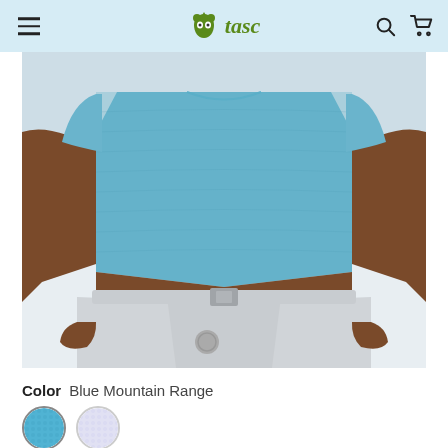tasc
[Figure (photo): Man wearing a blue textured short-sleeve polo shirt with light gray pants and a woven gray belt, cropped from chest to mid-thigh, against a light gray background.]
Color  Blue Mountain Range
[Figure (other): Two circular color swatches: first is a blue textured pattern (Blue Mountain Range), second is a light lavender/white textured pattern.]